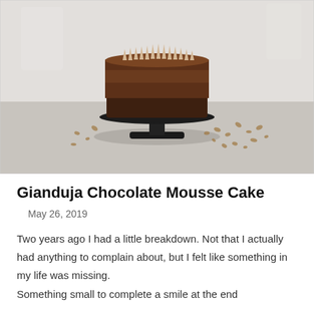[Figure (photo): A round chocolate mousse cake with meringue kisses on top, sitting on a black cake stand on a white surface. Small crushed nuts are scattered around the base. The background is light/white.]
Gianduja Chocolate Mousse Cake
May 26, 2019
Two years ago I had a little breakdown. Not that I actually had anything to complain about, but I felt like something in my life was missing. Something small to complete a smile at the end...